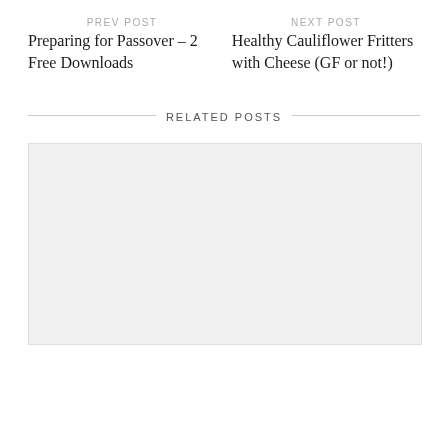PREV POST
NEXT POST
Preparing for Passover – 2 Free Downloads
Healthy Cauliflower Fritters with Cheese (GF or not!)
RELATED POSTS
[Figure (photo): Related post image placeholder]